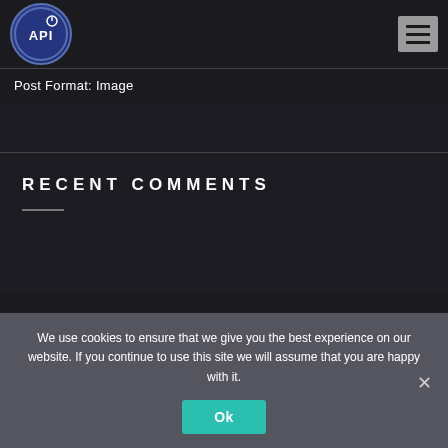[Figure (logo): API logo: circular dark blue badge with white text 'API' and a power symbol icon]
[Figure (other): Hamburger menu icon (three horizontal lines) on grey background]
Post Format: Image
RECENT COMMENTS
We use cookies to ensure that we give you the best experience on our website. If you continue to use this site we will assume that you are happy with it.